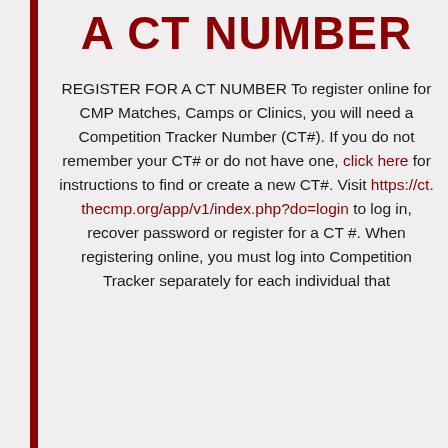A CT NUMBER
REGISTER FOR A CT NUMBER To register online for CMP Matches, Camps or Clinics, you will need a Competition Tracker Number (CT#). If you do not remember your CT# or do not have one, click here for instructions to find or create a new CT#. Visit https://ct.thecmp.org/app/v1/index.php?do=login to log in, recover password or register for a CT #. When registering online, you must log into Competition Tracker separately for each individual that